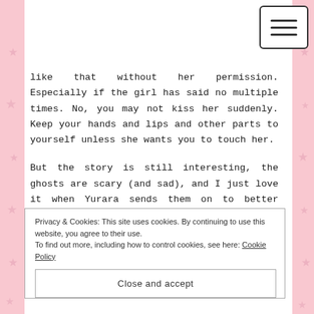like that without her permission. Especially if the girl has said no multiple times. No, you may not kiss her suddenly. Keep your hands and lips and other parts to yourself unless she wants you to touch her.
But the story is still interesting, the ghosts are scary (and sad), and I just love it when Yurara sends them on to better places. It is quite beautiful to see them go from scary to normal looking as they finally find the peace they want. I am still curious about the guardian spirit inhabiting Yurara and how that one came to be there.
Privacy & Cookies: This site uses cookies. By continuing to use this website, you agree to their use.
To find out more, including how to control cookies, see here: Cookie Policy
Close and accept
some reason it does fit with this story.